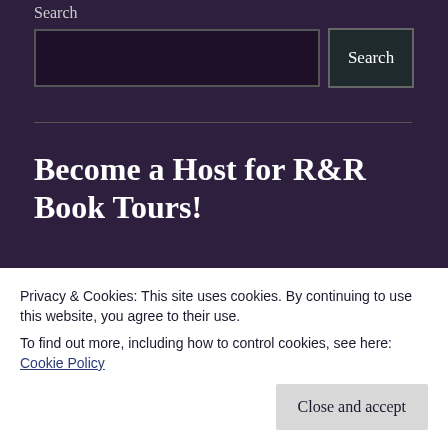Search
[Search input box] [Search button]
Become a Host for R&R Book Tours!
Name (required)
Privacy & Cookies: This site uses cookies. By continuing to use this website, you agree to their use.
To find out more, including how to control cookies, see here: Cookie Policy
Close and accept